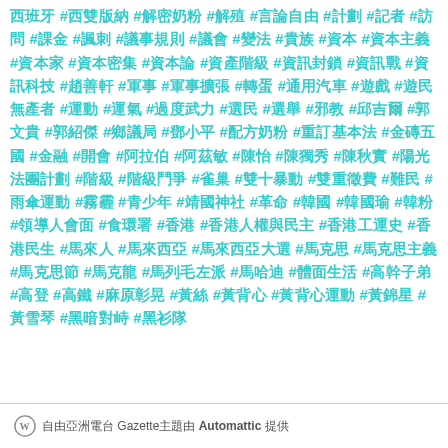西班牙 #西雙版納 #解密奶粉 #解殖 #言論自由 #計劃 #記者 #訪問 #課金 #諷刺 #議事規則 #議會 #變法 #貴族 #資本 #資本主義 #資本家 #資本密集 #資本論 #資產階級 #資訊封鎖 #資訊戰 #資訊科技 #趙善軒 #軍事 #軍事擴張 #轉蛋 #通用汽車 #遊戲 #遊民無產者 #運動 #運氣 #過度武力 #選民 #選舉 #邪教 #邱吉爾 #郭文貴 #郭紹傑 #鄉議局 #鄧小平 #配方奶粉 #重訂基本法 #金磚五國 #金融 #開會 #阿拉伯 #阿茲敏 #陳怡 #陳獨秀 #陳秋實 #陽光法團計劃 #階級 #階級鬥爭 #雀巢 #雙十暴動 #雙重徵費 #難民 #雨傘運動 #霧霾 #青少年 #靖國神社 #革命 #韓國 #韓國瑜 #韓粉 #領導人會面 #食環署 #香港 #香港人權與民主 #香港工運史 #香港民生 #馬來人 #馬來西亞 #馬來西亞大選 #馬克思 #馬克思主義 #馬克思節 #馬克龍 #馬列毛左派 #馬哈迪 #體面生活 #高幹子弟 #高登 #高鐵 #麻原彰晃 #黃絲 #黃背心 #黃背心運動 #黃錦星 #黃雪琴 #黑暗對峙 #黑衫隊
自由亞洲電台 Gazette主題由 Automattic 提供